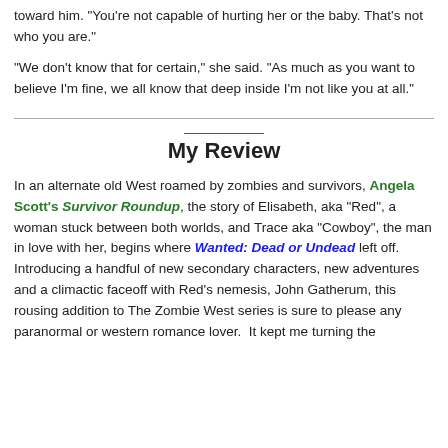toward him. "You're not capable of hurting her or the baby. That's not who you are."
"We don't know that for certain," she said. "As much as you want to believe I'm fine, we all know that deep inside I'm not like you at all."
My Review
In an alternate old West roamed by zombies and survivors, Angela Scott's Survivor Roundup, the story of Elisabeth, aka "Red", a woman stuck between both worlds, and Trace aka "Cowboy", the man in love with her, begins where Wanted: Dead or Undead left off.  Introducing a handful of new secondary characters, new adventures and a climactic faceoff with Red's nemesis, John Gatherum, this rousing addition to The Zombie West series is sure to please any paranormal or western romance lover.  It kept me turning the pages late into the night.